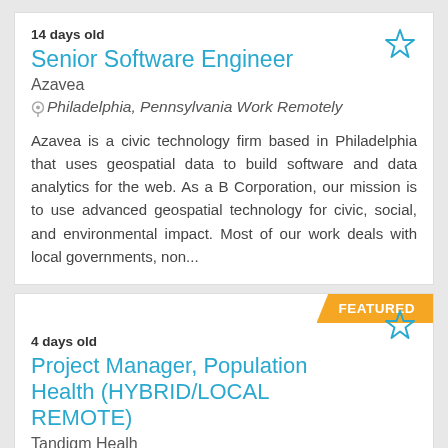14 days old
Senior Software Engineer
Azavea
Philadelphia, Pennsylvania Work Remotely
Azavea is a civic technology firm based in Philadelphia that uses geospatial data to build software and data analytics for the web. As a B Corporation, our mission is to use advanced geospatial technology for civic, social, and environmental impact. Most of our work deals with local governments, non...
FEATURED
4 days old
Project Manager, Population Health (HYBRID/LOCAL REMOTE)
Tandigm Healh
West Conshohocken, Pennsylvania Work Remotely